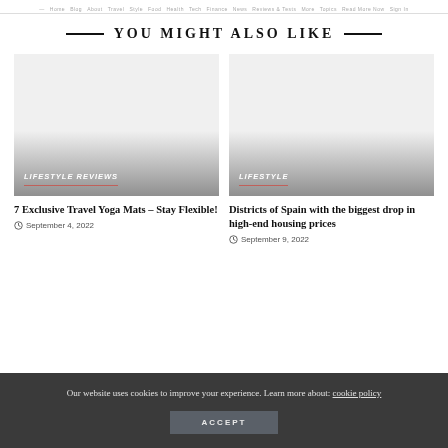Nav menu items row
YOU MIGHT ALSO LIKE
[Figure (photo): Placeholder image for article about travel yoga mats, with LIFESTYLE REVIEWS category label overlaid at bottom]
7 Exclusive Travel Yoga Mats – Stay Flexible!
September 4, 2022
[Figure (photo): Placeholder image for article about Spain housing prices, with LIFESTYLE category label overlaid at bottom]
Districts of Spain with the biggest drop in high-end housing prices
September 9, 2022
Our website uses cookies to improve your experience. Learn more about: cookie policy
ACCEPT